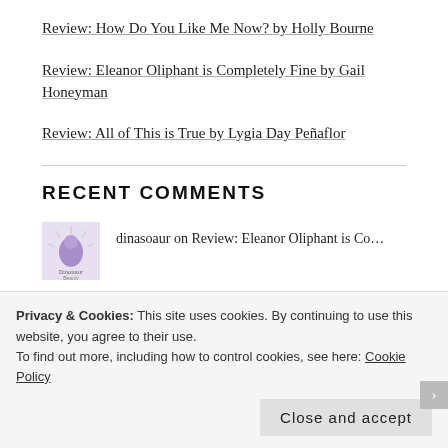Review: How Do You Like Me Now? by Holly Bourne
Review: Eleanor Oliphant is Completely Fine by Gail Honeyman
Review: All of This is True by Lygia Day Peñaflor
RECENT COMMENTS
dinasoaur on Review: Eleanor Oliphant is Co…
Inge | The Belgian R... on Review: All of This is True by…
Privacy & Cookies: This site uses cookies. By continuing to use this website, you agree to their use.
To find out more, including how to control cookies, see here: Cookie Policy
Close and accept